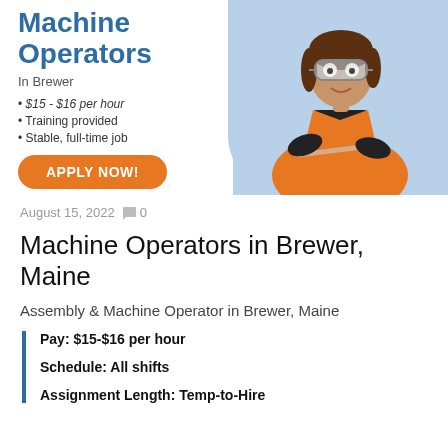[Figure (infographic): Job advertisement banner for Machine Operators in Brewer. Left side has blue bold title 'Machine Operators', location 'In Brewer', bullet list with '$15-$16 per hour', 'Training provided', 'Stable, full-time job', and an orange 'APPLY NOW!' button. Right side shows a woman in an orange safety vest and goggles against a blue-tinted background.]
August 15, 2022  0
Machine Operators in Brewer, Maine
Assembly & Machine Operator in Brewer, Maine
Pay: $15-$16 per hour
Schedule: All shifts
Assignment Length: Temp-to-Hire